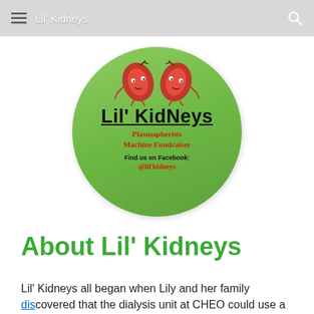≡  Lil' Kidneys  🔍
[Figure (logo): Circular green logo for Lil' Kidneys Plasmapheresis Machine Fundraiser. Features two cartoon kidney characters on a green background. Text reads: Lil' Kidneys (large, underlined black text), Plasmapheresis Machine Fundraiser (red), Find us on Facebook: @lil'kidneys (black and red).]
About Lil' Kidneys
Lil' Kidneys all began when Lily and her family discovered that the dialysis unit at CHEO could use a